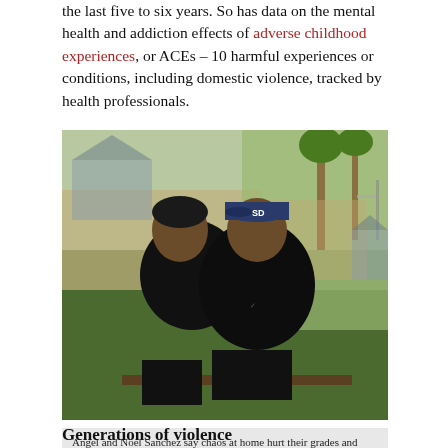the last five to six years. So has data on the mental health and addiction effects of adverse childhood experiences, or ACEs – 10 harmful experiences or conditions, including domestic violence, tracked by health professionals.
[Figure (photo): Two young men in black jackets sitting outdoors in a residential yard. One wears a San Diego Padres baseball cap. Palm trees and a basketball hoop are visible in the background.]
Angel and Noel Sanchez say chaos at home hurt their grades and shattered their dreams of playing college football. (Photo Credit: Sandy Hooper)
Generations of violence